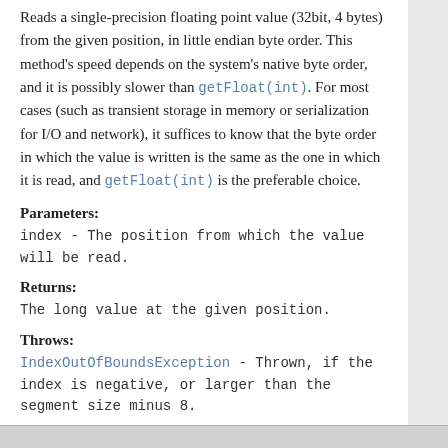Reads a single-precision floating point value (32bit, 4 bytes) from the given position, in little endian byte order. This method's speed depends on the system's native byte order, and it is possibly slower than getFloat(int). For most cases (such as transient storage in memory or serialization for I/O and network), it suffices to know that the byte order in which the value is written is the same as the one in which it is read, and getFloat(int) is the preferable choice.
Parameters:
index - The position from which the value will be read.
Returns:
The long value at the given position.
Throws:
IndexOutOfBoundsException - Thrown, if the index is negative, or larger than the segment size minus 8.